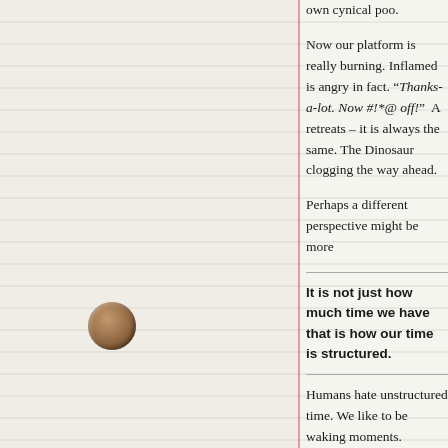own cynical poo.
Now our platform is really burning. Inflamed is angry in fact. “Thanks-a-lot. Now #!*@ off!”  A retreats – it is always the same. The Dinosaur clogging the way ahead.
Perhaps a different perspective might be more
It is not just how much time we have that is how our time is structured.
Humans hate unstructured time. We like to be waking moments.
To test this hypothesis try this demonstration d with activity. When you next talk to someone y after they have finished telling you something them; and keep listening – and say nothing. F necessary. Both you and they will feel an ove anything – to fill the silence. It is called the “pr